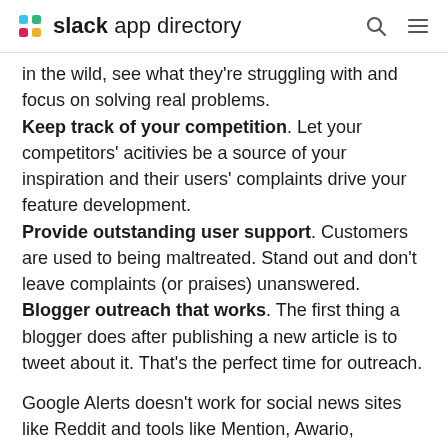slack app directory
in the wild, see what they're struggling with and focus on solving real problems. Keep track of your competition. Let your competitors' acitivies be a source of your inspiration and their users' complaints drive your feature development. Provide outstanding user support. Customers are used to being maltreated. Stand out and don't leave complaints (or praises) unanswered. Blogger outreach that works. The first thing a blogger does after publishing a new article is to tweet about it. That's the perfect time for outreach.
Google Alerts doesn't work for social news sites like Reddit and tools like Mention, Awario, Brand24 or Mediatoolkit are designed for big brands looking for sentiment analysis of the hundereds of mentions that they get. Syften is specifically designed for online discussions. Small and mid-sized companies use it to grow their online presence, either with